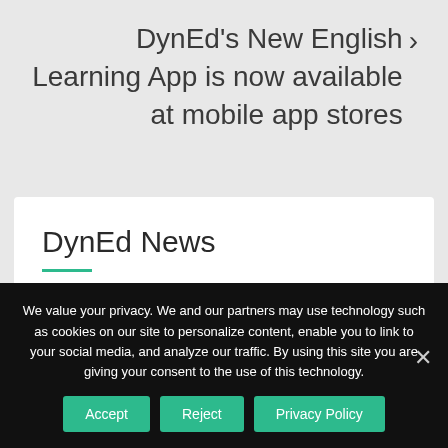DynEd's New English Learning App is now available at mobile app stores
DynEd News
DynEd, the English language learning
We value your privacy. We and our partners may use technology such as cookies on our site to personalize content, enable you to link to your social media, and analyze our traffic. By using this site you are giving your consent to the use of this technology.